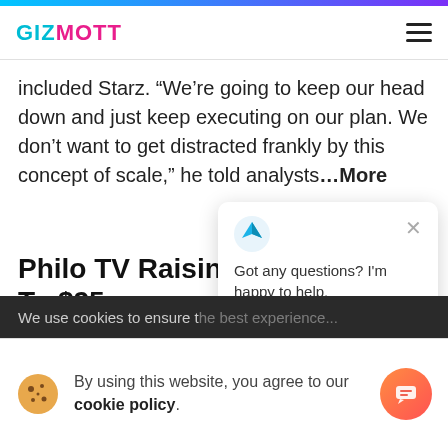GIZMOTT
included Starz. “We’re going to keep our head down and just keep executing on our plan. We don’t want to get distracted frankly by this concept of scale,” he told analysts...More
Philo TV Raising Monthly Rate To $25 For New Subscribers Bundle’s First Pri...
We use cookies to ensure t...
By using this website, you agree to our cookie policy.
[Figure (screenshot): Chat popup with blue arrow logo icon and text: Got any questions? I’m happy to help.]